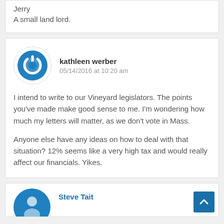Jerry
A small land lord.
kathleen werber
05/14/2016 at 10:20 am
I intend to write to our Vineyard legislators. The points you've made make good sense to me. I'm wondering how much my letters will matter, as we don't vote in Mass.

Anyone else have any ideas on how to deal with that situation? 12% seems like a very high tax and would really affect our financials. Yikes.
Steve Tait